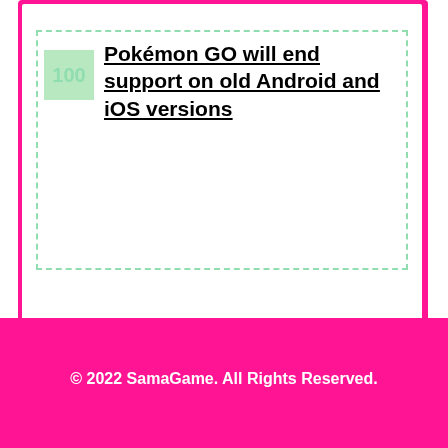Pokémon GO will end support on old Android and iOS versions
© 2022 SamaGame. All Rights Reserved.